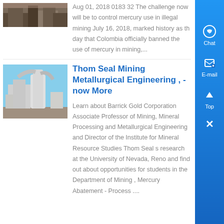[Figure (photo): Thumbnail image of mining equipment/operations (top article)]
Aug 01, 2018 0183 32 The challenge now will be to control mercury use in illegal mining July 16, 2018, marked history as the day that Colombia officially banned the use of mercury in mining,...
[Figure (photo): Industrial mineral processing plant with large white cylindrical equipment and ductwork against a blue sky]
Thom Seal Mining Metallurgical Engineering , - now More
Learn about Barrick Gold Corporation Associate Professor of Mining, Mineral Processing and Metallurgical Engineering and Director of the Institute for Mineral Resource Studies Thom Seal s research at the University of Nevada, Reno and find out about opportunities for students in the Department of Mining , Mercury Abatement - Process ....
[Figure (infographic): Blue sidebar with Chat, E-mail, Top, and close (X) buttons]
Chat
E-mail
Top